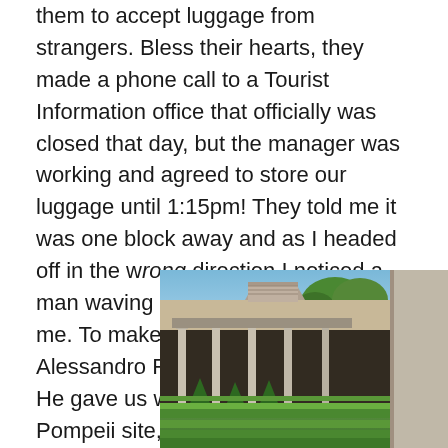them to accept luggage from strangers. Bless their hearts, they made a phone call to a Tourist Information office that officially was closed that day, but the manager was working and agreed to store our luggage until 1:15pm!  They told me it was one block away and as I headed off in the wrong direction I noticed a man waving his arms and beckoning me. To make a long story short, Alessandro Falanga saved the day!  He gave us walking directions to the Pompeii site, and we were admitted.
[Figure (photo): Photograph of an ancient Roman courtyard at Pompeii, showing a colonnade with columns, a tiled roof building, manicured conical topiary bushes and low hedges in the garden, with trees in the background and a partial column on the right edge.]